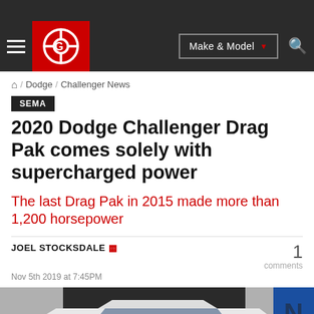Autoblog navigation bar with hamburger menu, logo, Make & Model dropdown, and search icon
Home / Dodge / Challenger News
SEMA
2020 Dodge Challenger Drag Pak comes solely with supercharged power
The last Drag Pak in 2015 made more than 1,200 horsepower
JOEL STOCKSDALE
Nov 5th 2019 at 7:45PM
1 comments
[Figure (photo): Photo of the 2020 Dodge Challenger Drag Pak race car with white, blue, and red livery shown at a SEMA display]